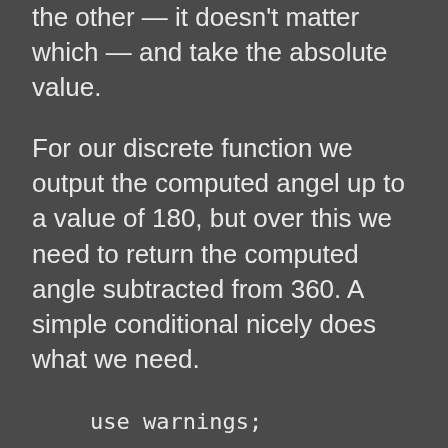the other — it doesn't matter which — and take the absolute value.
For our discrete function we output the computed angel up to a value of 180, but over this we need to return the computed angle subtracted from 360. A simple conditional nicely does what we need.
use warnings;
use strict;
use utf8;
use feature ":5.26";
use feature qw(signatures);
no warnings 'experimental::signature